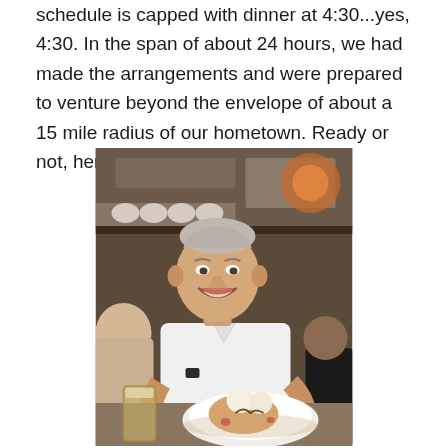schedule is capped with dinner at 4:30...yes, 4:30. In the span of about 24 hours, we had made the arrangements and were prepared to venture beyond the envelope of about a 15 mile radius of our hometown. Ready or not, here we come.
[Figure (photo): An elderly man in a white shirt smiling at the camera, seated at a restaurant table with a dessert plate in front of him. Restaurant kitchen visible in the background.]